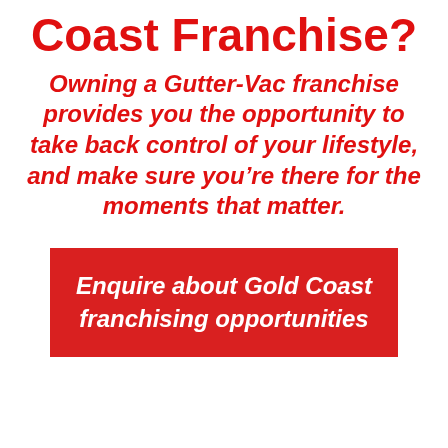Coast Franchise?
Owning a Gutter-Vac franchise provides you the opportunity to take back control of your lifestyle, and make sure you’re there for the moments that matter.
Enquire about Gold Coast franchising opportunities